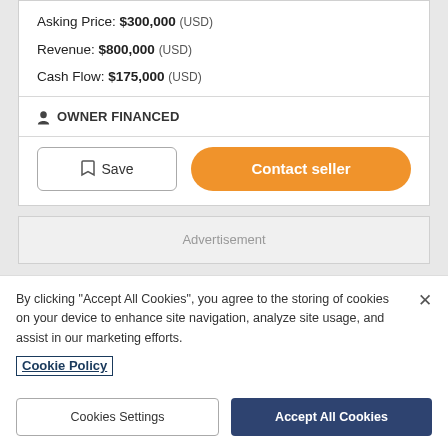Asking Price: $300,000 (USD)
Revenue: $800,000 (USD)
Cash Flow: $175,000 (USD)
OWNER FINANCED
Save
Contact seller
Advertisement
By clicking “Accept All Cookies”, you agree to the storing of cookies on your device to enhance site navigation, analyze site usage, and assist in our marketing efforts.
Cookie Policy
Cookies Settings
Accept All Cookies